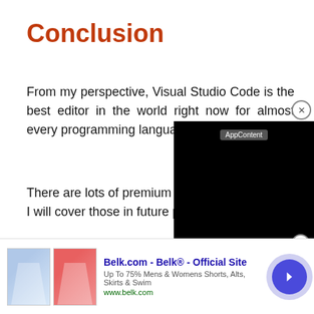Conclusion
From my perspective, Visual Studio Code is the best editor in the world right now for almost every programming language.
There are lots of premium IDEs are out there, in I will cover those in future posts.
When making a list of the best code and text editors available, it's impossible no contenders. Every writer, co favorite set of tools, just li